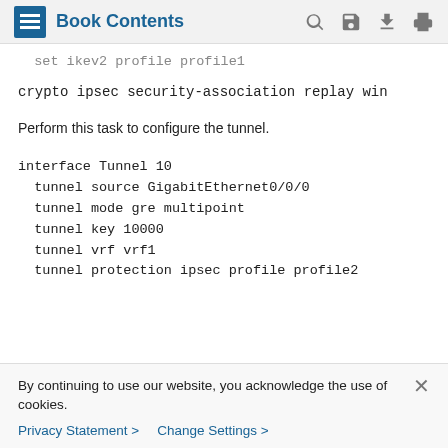Book Contents
set ikev2 profile profile1
crypto ipsec security-association replay win
Perform this task to configure the tunnel.
interface Tunnel 10
 tunnel source GigabitEthernet0/0/0
 tunnel mode gre multipoint
 tunnel key 10000
 tunnel vrf vrf1
 tunnel protection ipsec profile profile2
By continuing to use our website, you acknowledge the use of cookies.
Privacy Statement > Change Settings >